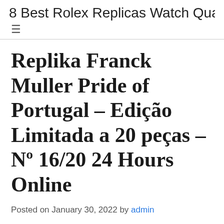8 Best Rolex Replicas Watch Qua...
Replika Franck Muller Pride of Portugal – Edição Limitada a 20 peças – Nº 16/20 24 Hours Online
Posted on January 30, 2022 by admin
Replika Franck Muller Pride of Portugal – Edição Limitada a 20